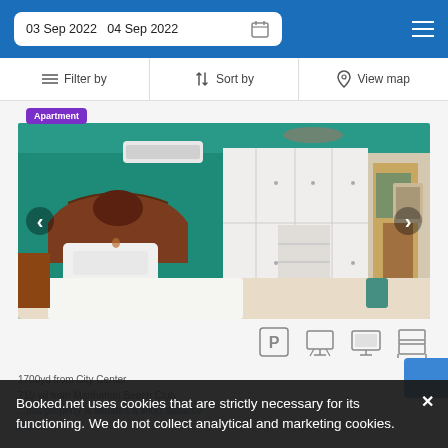03 Sep 2022   04 Sep 2022
Filter by   Sort by   View map
Apartment
[Figure (photo): Hotel apartment bedroom with teal/turquoise accent wall, bed with white linens, wooden headboard, white built-in wardrobe, air conditioning unit, and hallway view]
Amenity icons: parking, projector/screen, TV, bunk bed
1700yd from City Center
710 yd from Manhattan Beach Club
...this property is situated a short distance from...
Booked.net uses cookies that are strictly necessary for its functioning. We do not collect analytical and marketing cookies.